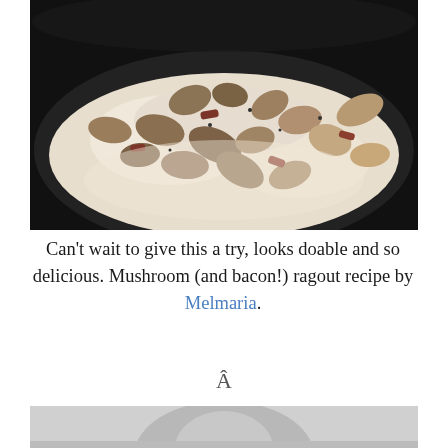[Figure (photo): A skillet/pan containing mushroom and bacon ragout in a cream sauce, photographed from above. Mushrooms, bacon pieces visible in white creamy sauce in a dark pan.]
Can't wait to give this a try, looks doable and so delicious. Mushroom (and bacon!) ragout recipe by Melmaria.
Â
[Figure (photo): Partial view of a second photo, light gray tones, partially cropped at bottom of page.]